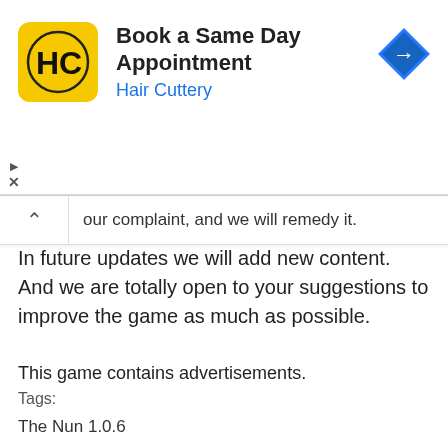[Figure (advertisement): Hair Cuttery advertisement banner with logo (HC in yellow circle), title 'Book a Same Day Appointment', subtitle 'Hair Cuttery' in blue, and blue diamond navigation arrow icon on the right. Play and close (X) controls on left side.]
our complaint, and we will remedy it.
In future updates we will add new content. And we are totally open to your suggestions to improve the game as much as possible.
This game contains advertisements.
Tags:
The Nun 1.0.6
The Nun mod apk 1.0.6
The Nun 1.0.6 apk mod
The Nun MOD
The Nun MOD MENU
The Nun modded apk